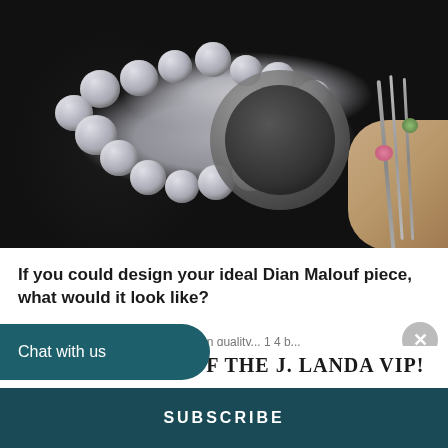[Figure (photo): Close-up photo of a wrist wearing multiple silver bracelets including a large pearl bracelet, an ornate scroll bangle, and thin bangles with gemstones (pink and green), against a black fabric background.]
If you could design your ideal Dian Malouf piece, what would it look like?
RT OF THE J. LANDA VIP!
Chat with us
SUBSCRIBE